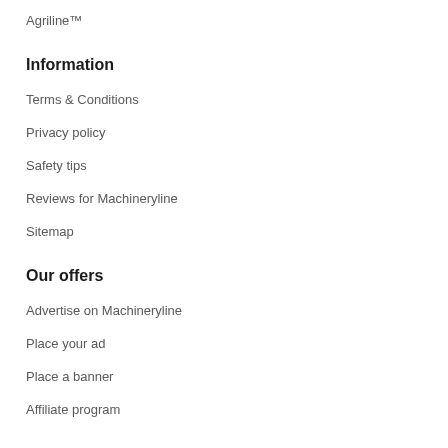Agriline™
Information
Terms & Conditions
Privacy policy
Safety tips
Reviews for Machineryline
Sitemap
Our offers
Advertise on Machineryline
Place your ad
Place a banner
Affiliate program